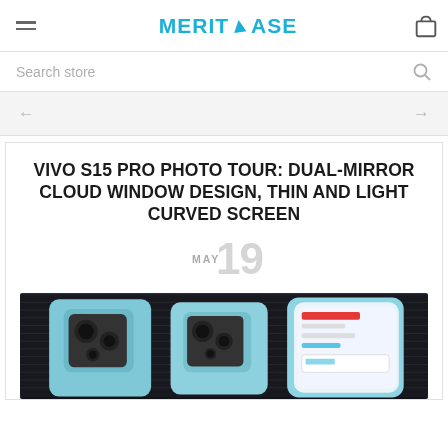MERITCASE
Search store
VIVO S15 PRO PHOTO TOUR: DUAL-MIRROR CLOUD WINDOW DESIGN, THIN AND LIGHT CURVED SCREEN
MAY 19
[Figure (photo): Three vivo S15 Pro smartphones displayed on a dark ribbed surface, showing their back camera modules and one showing the front screen, in blue/teal color]